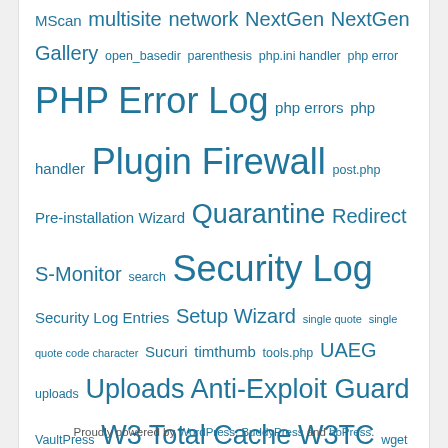MScan multisite network NextGen NextGen Gallery open_basedir parenthesis php.ini handler php error PHP Error Log php errors php handler Plugin Firewall post.php Pre-installation Wizard Quarantine Redirect S-Monitor search Security Log Security Log Entries Setup Wizard single quote single quote code character Sucuri timthumb tools.php UAEG uploads Uploads Anti-Exploit Guard VaultPress W3 Total Cache W3TC wget Whitelist Rules WooCommerce Wordfence wordpress wp-admin wp-config.php WP Super Cache XAMPP xmlrpc
Proudly powered by WordPress, BuddyPress and bbPress.